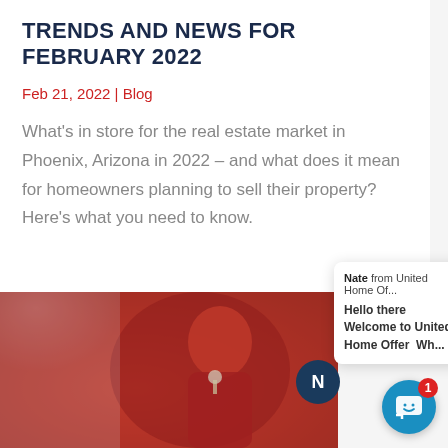TRENDS AND NEWS FOR FEBRUARY 2022
Feb 21, 2022 | Blog
What's in store for the real estate market in Phoenix, Arizona in 2022 – and what does it mean for homeowners planning to sell their property? Here's what you need to know.
[Figure (photo): A person in a red blazer holding house keys, likely a real estate agent or homeowner]
Nate from United Home Of...
Hello there  Welcome to United Home Offer  Wh...